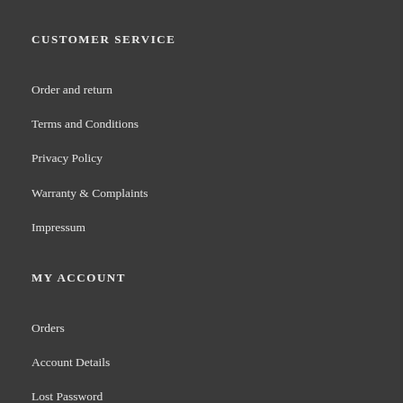CUSTOMER SERVICE
Order and return
Terms and Conditions
Privacy Policy
Warranty & Complaints
Impressum
MY ACCOUNT
Orders
Account Details
Lost Password